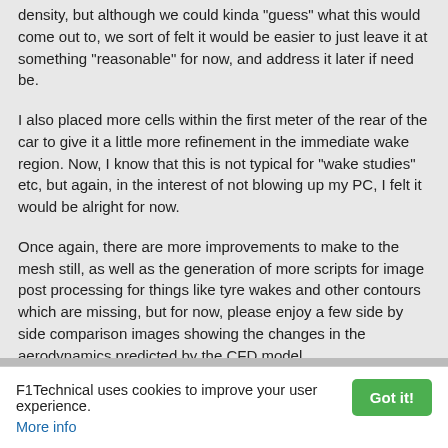density, but although we could kinda "guess" what this would come out to, we sort of felt it would be easier to just leave it at something "reasonable" for now, and address it later if need be.
I also placed more cells within the first meter of the rear of the car to give it a little more refinement in the immediate wake region. Now, I know that this is not typical for "wake studies" etc, but again, in the interest of not blowing up my PC, I felt it would be alright for now.
Once again, there are more improvements to make to the mesh still, as well as the generation of more scripts for image post processing for things like tyre wakes and other contours which are missing, but for now, please enjoy a few side by side comparison images showing the changes in the aerodynamics predicted by the CFD model.
F1Technical uses cookies to improve your user experience. Got it! More info